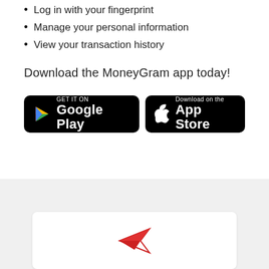Log in with your fingerprint
Manage your personal information
View your transaction history
Download the MoneyGram app today!
[Figure (illustration): Google Play store badge button with colorful play triangle icon, black background, white text: GET IT ON Google Play]
[Figure (illustration): Apple App Store badge button with Apple logo icon, black background, white text: Download on the App Store]
[Figure (illustration): Light gray section at bottom of page with a white card/panel partially visible, containing a red paper airplane icon]